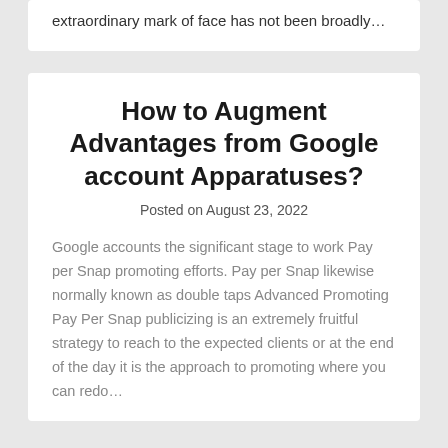extraordinary mark of face has not been broadly…
How to Augment Advantages from Google account Apparatuses?
Posted on August 23, 2022
Google accounts the significant stage to work Pay per Snap promoting efforts. Pay per Snap likewise normally known as double taps Advanced Promoting Pay Per Snap publicizing is an extremely fruitful strategy to reach to the expected clients or at the end of the day it is the approach to promoting where you can redo…